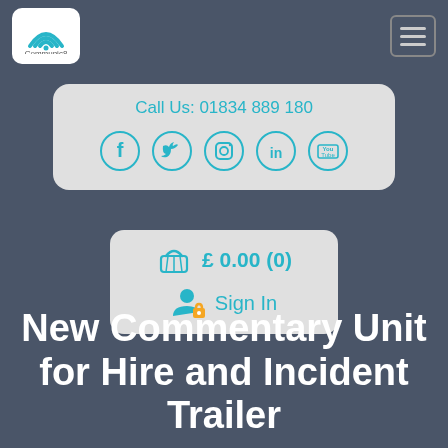[Figure (logo): Communic8 logo with wifi/signal icon in white rounded box]
Call Us: 01834 889 180
[Figure (infographic): Social media icons in teal circles: Facebook, Twitter, Instagram, LinkedIn, YouTube]
£ 0.00 (0)
Sign In
New Commentary Unit for Hire and Incident Trailer